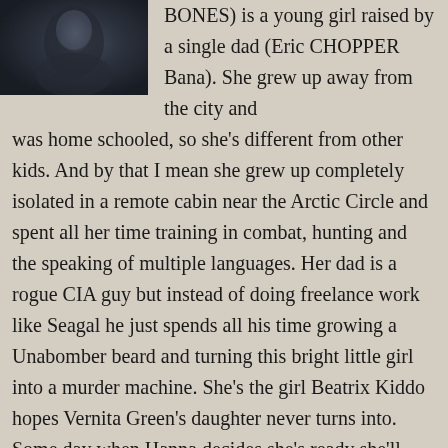[Figure (photo): A dark moody photo in the top-left corner showing a person partially visible, dark tones of gray and black]
BONES) is a young girl raised by a single dad (Eric CHOPPER Bana). She grew up away from the city and was home schooled, so she's different from other kids. And by that I mean she grew up completely isolated in a remote cabin near the Arctic Circle and spent all her time training in combat, hunting and the speaking of multiple languages. Her dad is a rogue CIA guy but instead of doing freelance work like Seagal he just spends all his time growing a Unabomber beard and turning this bright little girl into a murder machine. She's the girl Beatrix Kiddo hopes Vernita Green's daughter never turns into. Some day when Hanna decides she's ready she'll literally flip a switch that will set off a war with the bitch (Cate Blanchett) that killed her mom.